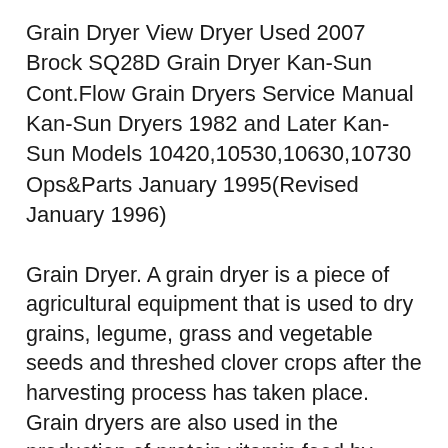Grain Dryer View Dryer Used 2007 Brock SQ28D Grain Dryer Kan-Sun Cont.Flow Grain Dryers Service Manual Kan-Sun Dryers 1982 and Later Kan-Sun Models 10420,10530,10630,10730 Ops&Parts January 1995(Revised January 1996)
Grain Dryer. A grain dryer is a piece of agricultural equipment that is used to dry grains, legume, grass and vegetable seeds and threshed clover crops after the harvesting process has taken place. Grain dryers are also used in the production of protein vitamin feed by drying products such as alfalfa, vetch, oats and green clover. The two types With the ability to be purchased as a